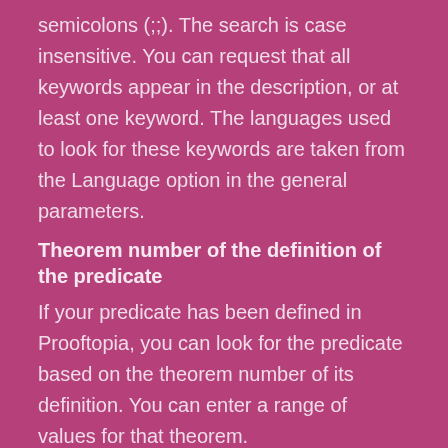semicolons (;;). The search is case insensitive. You can request that all keywords appear in the description, or at least one keyword. The languages used to look for these keywords are taken from the Language option in the general parameters.
Theorem number of the definition of the predicate
If your predicate has been defined in Prooftopia, you can look for the predicate based on the theorem number of its definition. You can enter a range of values for that theorem.
How to search for symbols
In addition to editor, language, date and subject area/position, you can also use the following options: symbol number, keywords in the text (including HTML tags), keywords in the description, and theorem number of its definition.